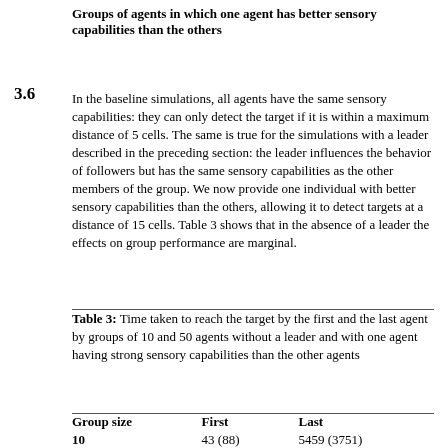Groups of agents in which one agent has better sensory capabilities than the others
3.6
In the baseline simulations, all agents have the same sensory capabilities: they can only detect the target if it is within a maximum distance of 5 cells. The same is true for the simulations with a leader described in the preceding section: the leader influences the behavior of followers but has the same sensory capabilities as the other members of the group. We now provide one individual with better sensory capabilities than the others, allowing it to detect targets at a distance of 15 cells. Table 3 shows that in the absence of a leader the effects on group performance are marginal.
Table 3: Time taken to reach the target by the first and the last agent by groups of 10 and 50 agents without a leader and with one agent having strong sensory capabilities than the other agents
| Group size | First | Last |
| --- | --- | --- |
| 10 | 43 (88) | 5459 (3751) |
| 50 | 3 (5) | 8104 (3434) |